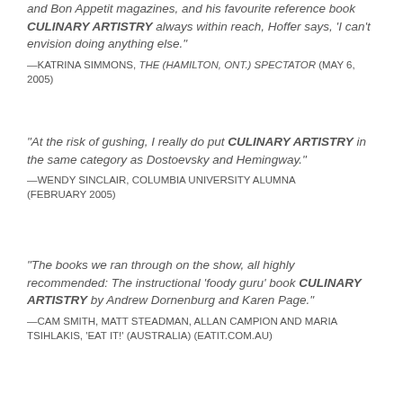and Bon Appetit magazines, and his favourite reference book CULINARY ARTISTRY always within reach, Hoffer says, 'I can't envision doing anything else."
—KATRINA SIMMONS, THE (HAMILTON, ONT.) SPECTATOR (MAY 6, 2005)
"At the risk of gushing, I really do put CULINARY ARTISTRY in the same category as Dostoevsky and Hemingway."
—WENDY SINCLAIR, COLUMBIA UNIVERSITY ALUMNA (FEBRUARY 2005)
"The books we ran through on the show, all highly recommended: The instructional 'foody guru' book CULINARY ARTISTRY by Andrew Dornenburg and Karen Page."
—CAM SMITH, MATT STEADMAN, ALLAN CAMPION AND MARIA TSIHLAKIS, 'EAT IT!' (AUSTRALIA) (EATIT.COM.AU)